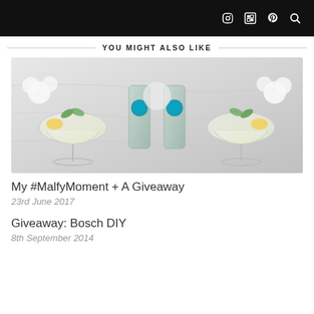f  [instagram]  [pinterest]  [search]
YOU MIGHT ALSO LIKE
[Figure (photo): Cocktail glasses with lemon garnish and gin bottles with flowers in background, mirrored/symmetrical composition on marble surface]
My #MalfyMoment + A Giveaway
23rd June 2017
Giveaway: Bosch DIY
8th September 2014